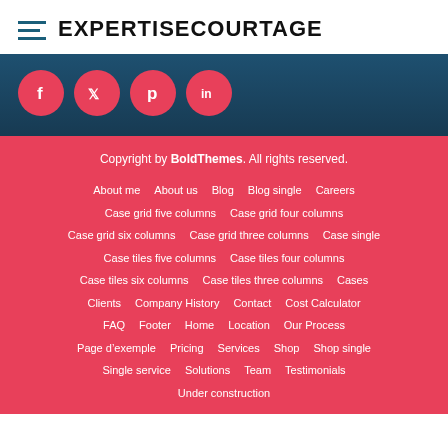EXPERTISECOURTAGE
[Figure (illustration): Social media icons: Facebook, Twitter, Pinterest, LinkedIn on dark teal background]
Copyright by BoldThemes. All rights reserved.
About me
About us
Blog
Blog single
Careers
Case grid five columns
Case grid four columns
Case grid six columns
Case grid three columns
Case single
Case tiles five columns
Case tiles four columns
Case tiles six columns
Case tiles three columns
Cases
Clients
Company History
Contact
Cost Calculator
FAQ
Footer
Home
Location
Our Process
Page d’exemple
Pricing
Services
Shop
Shop single
Single service
Solutions
Team
Testimonials
Under construction